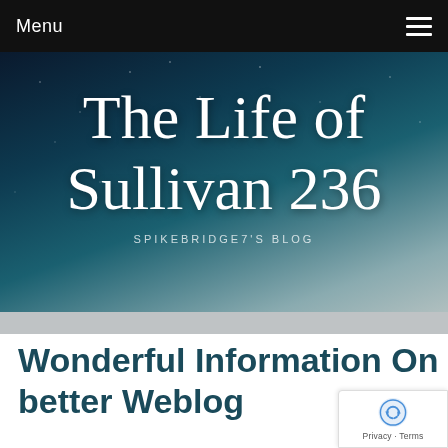Menu
[Figure (screenshot): Blog header banner with night sky / galaxy background showing 'The Life of Sullivan 236' in cursive white text and 'SPIKEBRIDGE7'S BLOG' subtitle]
The Life of Sullivan 236
SPIKEBRIDGE7'S BLOG
Wonderful Information On How To Get A Much better Weblog